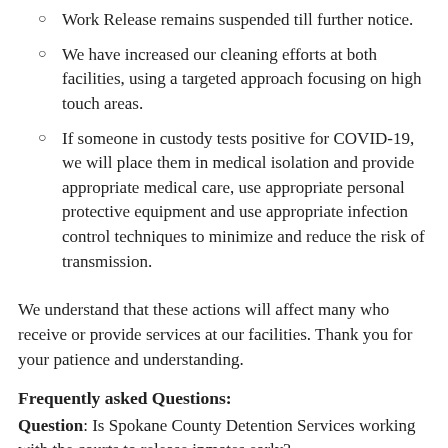Work Release remains suspended till further notice.
We have increased our cleaning efforts at both facilities, using a targeted approach focusing on high touch areas.
If someone in custody tests positive for COVID-19, we will place them in medical isolation and provide appropriate medical care, use appropriate personal protective equipment and use appropriate infection control techniques to minimize and reduce the risk of transmission.
We understand that these actions will affect many who receive or provide services at our facilities. Thank you for your patience and understanding.
Frequently asked Questions:
Question: Is Spokane County Detention Services working with the courts to release inmates early?